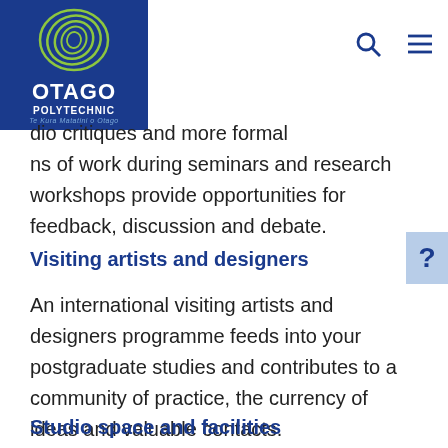[Figure (logo): Otago Polytechnic logo with spiral graphic on blue background, text reads OTAGO POLYTECHNIC Te Kura Matatini o Otago]
dio critiques and more formal ns of work during seminars and research workshops provide opportunities for feedback, discussion and debate.
Visiting artists and designers
An international visiting artists and designers programme feeds into your postgraduate studies and contributes to a community of practice, the currency of ideas and valuable contacts.
Studio space and facilities